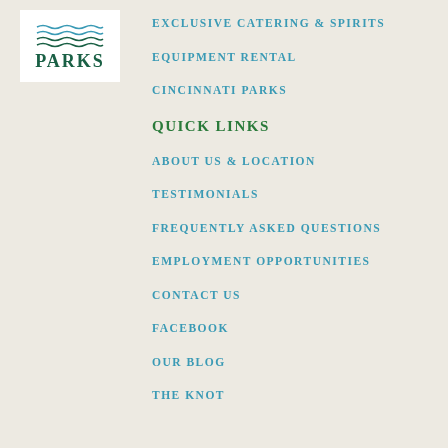[Figure (logo): Cincinnati Parks logo with wave lines above bold green PARKS text on white background]
EXCLUSIVE CATERING & SPIRITS
EQUIPMENT RENTAL
CINCINNATI PARKS
QUICK LINKS
ABOUT US & LOCATION
TESTIMONIALS
FREQUENTLY ASKED QUESTIONS
EMPLOYMENT OPPORTUNITIES
CONTACT US
FACEBOOK
OUR BLOG
THE KNOT